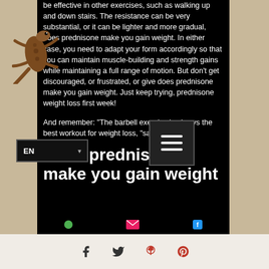be effective in other exercises, such as walking up and down stairs. The resistance can be very substantial, or it can be lighter and more gradual, does prednisone make you gain weight. In either case, you need to adapt your form accordingly so that you can maintain muscle-building and strength gains while maintaining a full range of motion. But don't get discouraged, or frustrated, or give does prednisone make you gain weight. Just keep trying, prednisone weight loss first week!
And remember: "The barbell exercise is always the best workout for weight loss, "says Sjostrom.
Does prednisone make you gain weight
[Figure (illustration): Gecko/lizard decoration in brown tones on left side of page]